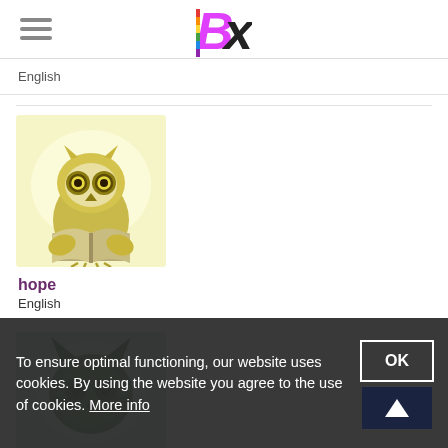Bx (logo)
English
[Figure (illustration): An owl holding an open book, with yellow feathers and dark eyes, on a light yellow background]
hope
English
[Figure (illustration): A dark green cat illustration on a light teal/green background, partially visible]
To ensure optimal functioning, our website uses cookies. By using the website you agree to the use of cookies. More info